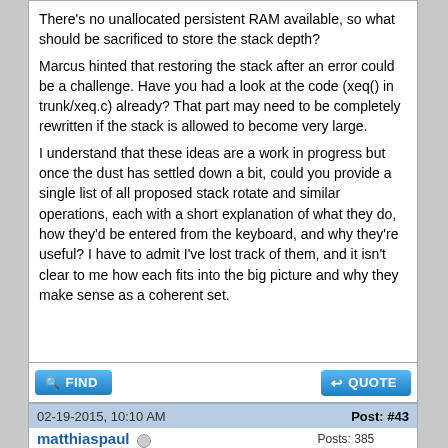There's no unallocated persistent RAM available, so what should be sacrificed to store the stack depth?
Marcus hinted that restoring the stack after an error could be a challenge. Have you had a look at the code (xeq() in trunk/xeq.c) already? That part may need to be completely rewritten if the stack is allowed to become very large.
I understand that these ideas are a work in progress but once the dust has settled down a bit, could you provide a single list of all proposed stack rotate and similar operations, each with a short explanation of what they do, how they'd be entered from the keyboard, and why they're useful? I have to admit I've lost track of them, and it isn't clear to me how each fits into the big picture and why they make sense as a coherent set.
02-19-2015, 10:10 AM   Post: #43
matthiaspaul   Posts: 385   Joined: Jan 2015   Senior Member
RE: [34S] Proposal for Entry RPN mode with dynamic stack
Bit Wrote:   (02-19-2015 02:50 AM)